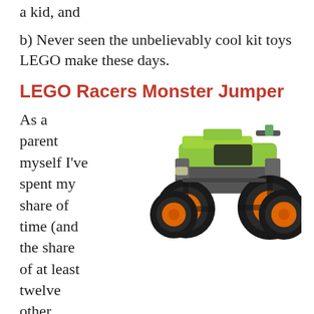a kid, and
b) Never seen the unbelievably cool kit toys LEGO make these days.
LEGO Racers Monster Jumper
[Figure (photo): LEGO Racers Monster Jumper toy car — a green and grey monster truck with large black tyres and orange rims, viewed from a front-left angle]
As a parent myself I've spent my share of time (and the share of at least twelve other parents) sitting with my son and sharing the job